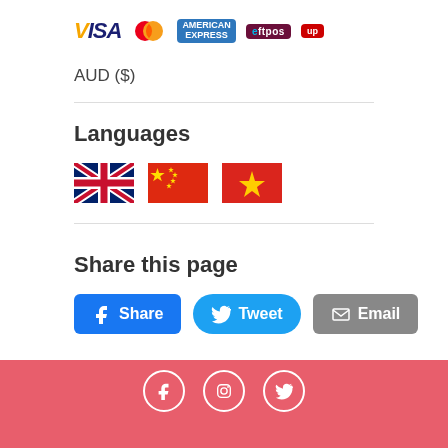[Figure (other): Payment method logos: VISA, Mastercard, American Express, eftpos, UnionPay]
AUD ($)
Languages
[Figure (other): Flag icons for English (UK), Chinese, Vietnamese languages]
Share this page
[Figure (other): Share buttons: Facebook Share, Twitter Tweet, Email]
Footer with Facebook, Instagram, Twitter social icons and navigation links